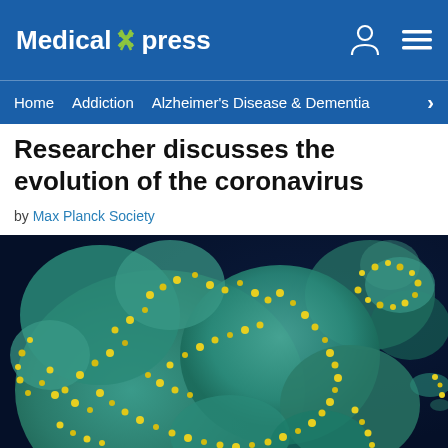Medical Xpress
Home  Addiction  Alzheimer's Disease & Dementia  >
Researcher discusses the evolution of the coronavirus
by Max Planck Society
[Figure (photo): Colorized scanning electron microscope image of a cell covered with yellow coronavirus particles on a dark blue background. The cell surface is teal/green and densely covered with small round yellow viral particles.]